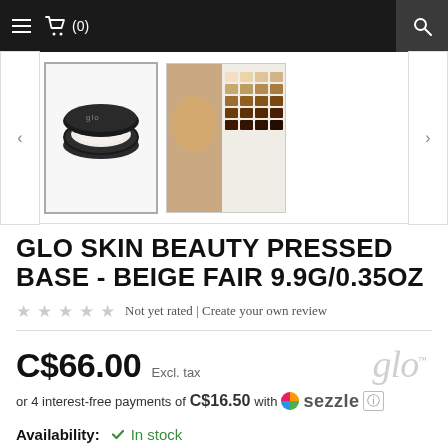☰ 🛒 (0)  🔍
[Figure (photo): Product images: a compact pressed powder (Glo Skin Beauty) in round black compact with light beige powder, and a second image showing a color swatch grid with various skin tone shades. Navigation arrows on left and right sides.]
GLO SKIN BEAUTY PRESSED BASE - BEIGE FAIR 9.9G/0.35OZ
Not yet rated | Create your own review
C$66.00 Excl. tax
or 4 interest-free payments of C$16.50 with Sezzle ℹ
Availability: ✔ In stock